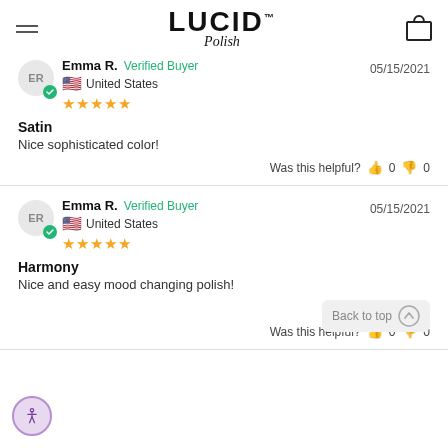LUCID Polish
Emma R. Verified Buyer 05/15/2021 United States ★★★★★
Satin
Nice sophisticated color!
Was this helpful? 👍 0 👎 0
Emma R. Verified Buyer 05/15/2021 United States ★★★★★
Harmony
Nice and easy mood changing polish!
Was this helpful? 👍 0 👎 0